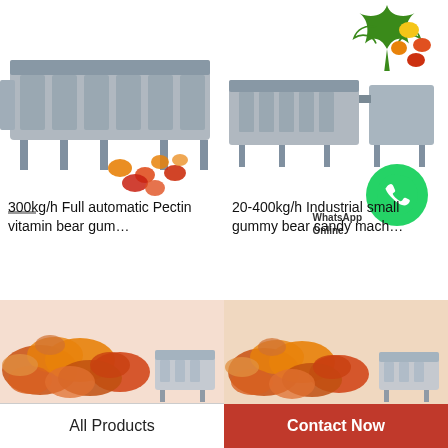[Figure (photo): Industrial gummy candy production machine with orange and red gummy bears in foreground]
300kg/h Full automatic Pectin vitamin bear gum…
[Figure (photo): Industrial small gummy bear candy machine with cannabis leaf and colorful gummies, WhatsApp Online overlay]
20-400kg/h Industrial small gummy bear candy mach…
[Figure (photo): Pile of orange and red gummy candies with machine in background]
[Figure (photo): Pile of orange and red gummy candies with machine in background]
All Products
Contact Now